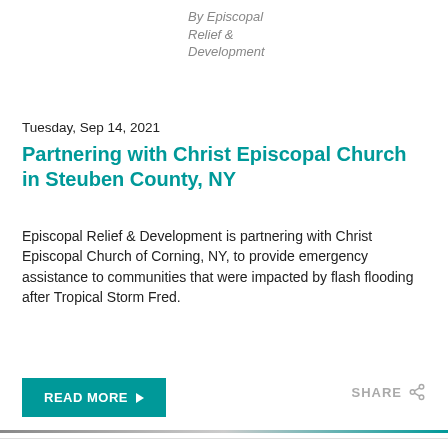By Episcopal Relief & Development
Tuesday, Sep 14, 2021
Partnering with Christ Episcopal Church in Steuben County, NY
Episcopal Relief & Development is partnering with Christ Episcopal Church of Corning, NY, to provide emergency assistance to communities that were impacted by flash flooding after Tropical Storm Fred.
READ MORE ▶
SHARE
This website uses cookies
We use cookies to improve your experience on our website. By browsing this website, you agree to our use of cookies. Read our Privacy Policy for more information.
Deny
Accept
Show details